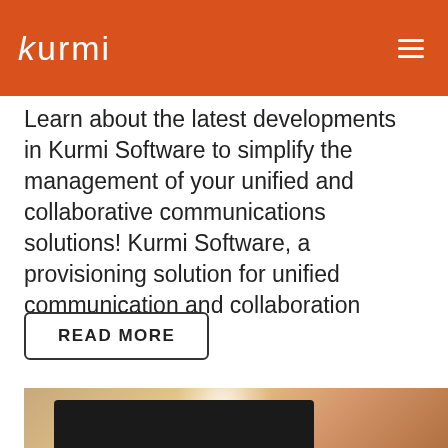kurmi
Learn about the latest developments in Kurmi Software to simplify the management of your unified and collaborative communications solutions! Kurmi Software, a provisioning solution for unified communication and collaboration
READ MORE
[Figure (photo): Photo showing a tablet device with a glowing effect above it, with Cisco and BroadSoft logos displayed at the bottom on a dark navy bar.]